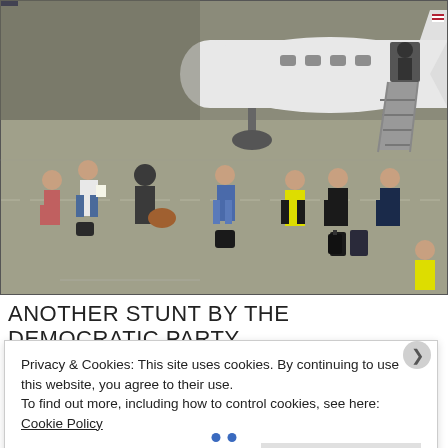[Figure (photo): Aerial view of a tarmac scene with a small white private jet, stairs deployed, and about 8-10 people standing near the aircraft, some with luggage. One person wears a yellow safety vest. Photo taken from above.]
ANOTHER STUNT BY THE DEMOCRATIC PARTY
Privacy & Cookies: This site uses cookies. By continuing to use this website, you agree to their use.
To find out more, including how to control cookies, see here: Cookie Policy
Close and accept